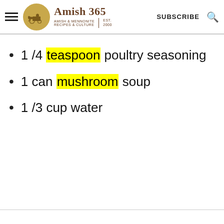Amish 365 — AMISH & MENNONITE RECIPES & CULTURE | EST. 2000 | SUBSCRIBE
1 /4 teaspoon poultry seasoning
1 can mushroom soup
1 /3 cup water